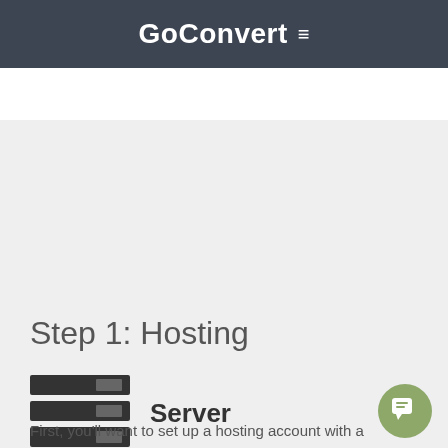GoConvert ≡
Step 1: Hosting
[Figure (illustration): Server rack icon with three dark horizontal bars with lighter right-end sections]
Server
First, you'll want to set up a hosting account with a